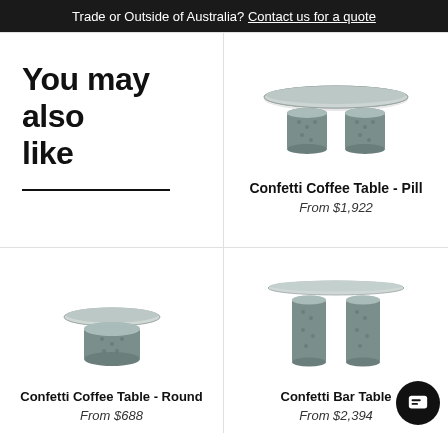Trade or Outside of Australia? Contact us for a quote
You may also like
[Figure (photo): Confetti Coffee Table - Pill: oval-topped table with two cylindrical stone-textured pedestal legs]
Confetti Coffee Table - Pill
From $1,922
[Figure (photo): Confetti Coffee Table - Round: small round-topped table with a single wide cylindrical stone-textured pedestal leg]
Confetti Coffee Table - Round
From $688
[Figure (photo): Confetti Bar Table: tall table with a thin round top and two tall cylindrical stone-textured pedestal legs]
Confetti Bar Table
From $2,394